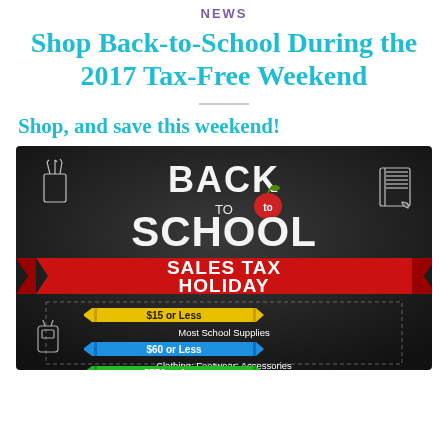NEWS
Shop Back-to-School During the 2017 Tax-Free Weekend
Shop, and save this weekend!
[Figure (infographic): Back to School Sales Tax Holiday infographic on dark chalkboard background. Shows crayon banners with three price tiers: $15 or Less for Most School Supplies, $60 or Less for Clothing; Footwear; Accessories, $750 or Less (partially visible). Chalk drawings of pencils and notebook in corners. Large bold white text 'BACK TO SCHOOL' with red apple, red ribbon banner reading 'SALES TAX HOLIDAY'.]